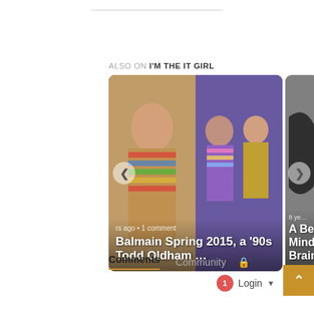ALSO ON I'M THE IT GIRL
[Figure (photo): Carousel with two visible cards: Card 1 shows fashion model (Balmain Spring 2015) and '90s party photo. Card 2 (partially visible) shows a dark object. Card 1 text: 'rs ago • 1 comment / Balmain Spring 2015, a '90s Todd Oldham …'. Card 2 text: '8 ye… / A Bea… / Mind: / Brain s'.]
Comments  Community  🔒
1  Login ▾